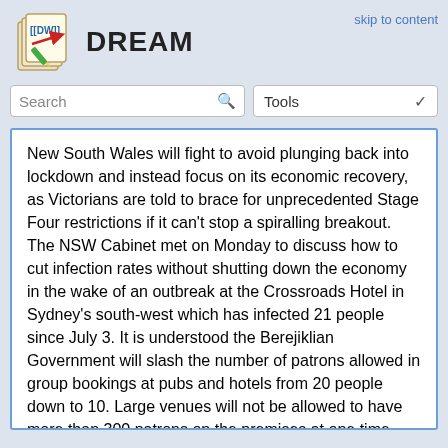[Figure (logo): DokuWiki logo - pencil on paper icon]
DREAM
skip to content
New South Wales will fight to avoid plunging back into lockdown and instead focus on its economic recovery, as Victorians are told to brace for unprecedented Stage Four restrictions if it can't stop a spiralling breakout. The NSW Cabinet met on Monday to discuss how to cut infection rates without shutting down the economy in the wake of an outbreak at the Crossroads Hotel in Sydney's south-west which has infected 21 people since July 3. It is understood the Berejiklian Government will slash the number of patrons allowed in group bookings at pubs and hotels from 20 people down to 10. Large venues will not be allowed to have more than 300 patrons on the premises at one time under the new rules, expected to be unveiled today.